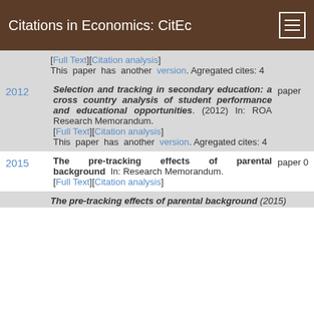Citations in Economics: CitEc
[Full Text][Citation analysis] This paper has another version. Agregated cites: 4
2012 — Selection and tracking in secondary education: a cross country analysis of student performance and educational opportunities. (2012) In: ROA Research Memorandum. [Full Text][Citation analysis] This paper has another version. Agregated cites: 4 — paper
2015 — The pre-tracking effects of parental background In: Research Memorandum. [Full Text][Citation analysis] — paper 0
The pre-tracking effects of parental background (2015)